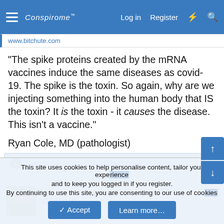Conspirome — Log in  Register
www.bitchute.com
"The spike proteins created by the mRNA vaccines induce the same diseases as covid-19. The spike is the toxin. So again, why are we injecting something into the human body that IS the toxin? It is the toxin - it causes the disease. This isn't a vaccine."
Ryan Cole, MD (pathologist)
anartist, Hi_Henry, United Gnosis and 25 others
dennis
This site uses cookies to help personalise content, tailor your experience and to keep you logged in if you register.
By continuing to use this site, you are consenting to our use of cookies.